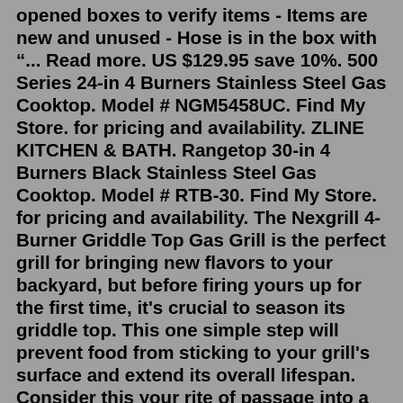opened boxes to verify items - Items are new and unused - Hose is in the box with "... Read more. US $129.95 save 10%. 500 Series 24-in 4 Burners Stainless Steel Gas Cooktop. Model # NGM5458UC. Find My Store. for pricing and availability. ZLINE KITCHEN & BATH. Rangetop 30-in 4 Burners Black Stainless Steel Gas Cooktop. Model # RTB-30. Find My Store. for pricing and availability. The Nexgrill 4-Burner Griddle Top Gas Grill is the perfect grill for bringing new flavors to your backyard, but before firing yours up for the first time, it's crucial to season its griddle top. This one simple step will prevent food from sticking to your grill's surface and extend its overall lifespan. Consider this your rite of passage into a whole new world of griddle top grilling!Service Center and Dealer Locator. Please Note: Once you enter an address, if no locations are returned, expand the mileage radius to a greater distance. The listing that appears will be in order of closest to furthest away from you. If even after expanding your mileage radius several times, should no results appear, clear